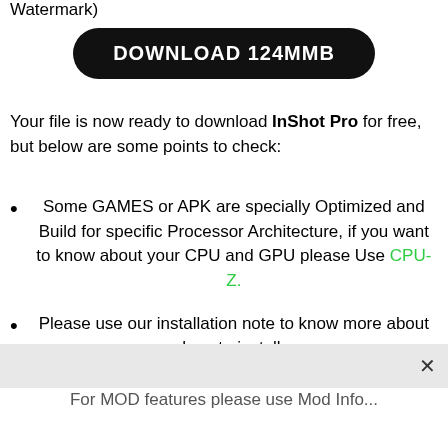Watermark)
[Figure (other): Black rounded rectangle download button with white bold text: DOWNLOAD 124MMB]
Your file is now ready to download InShot Pro for free, but below are some points to check:
Some GAMES or APK are specially Optimized and Build for specific Processor Architecture, if you want to know about your CPU and GPU please Use CPU-Z.
Please use our installation note to know more about how to install.
For MOD features please use Mod Info...